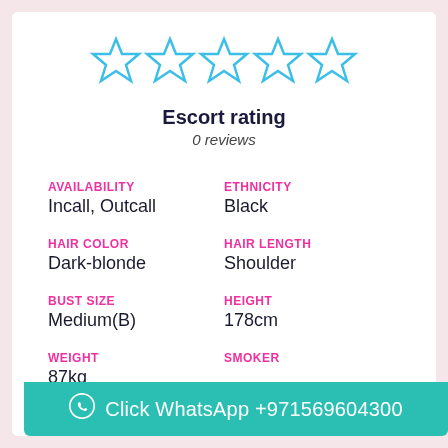[Figure (other): Five empty/unfilled blue star rating icons in a row]
Escort rating
0 reviews
AVAILABILITY
Incall, Outcall
ETHNICITY
Black
HAIR COLOR
Dark-blonde
HAIR LENGTH
Shoulder
BUST SIZE
Medium(B)
HEIGHT
178cm
WEIGHT
87kg
SMOKER
Click WhatsApp +971569604300